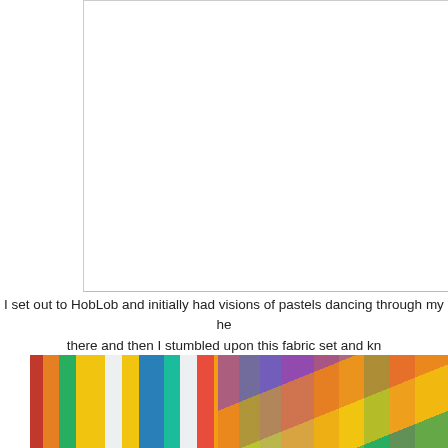[Figure (photo): White blank area — top portion of a photo that is mostly cropped out, with a light border]
I set out to HobLob and initially had visions of pastels dancing through my he... there and then I stumbled upon this fabric set and kn...
[Figure (photo): Colorful striped fabric with bright horizontal stripes in yellow, green, orange, red, teal, blue colors alongside a patterned fabric with floral/leaf designs in purple, orange, pink, yellow on dark background]